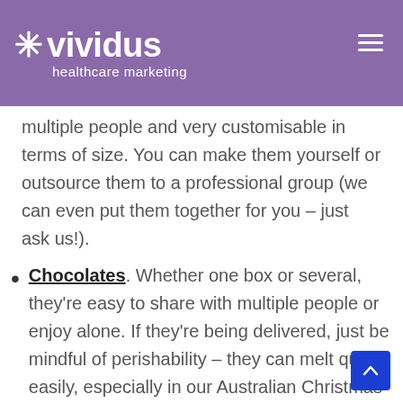vividus healthcare marketing
multiple people and very customisable in terms of size. You can make them yourself or outsource them to a professional group (we can even put them together for you – just ask us!).
Chocolates. Whether one box or several, they're easy to share with multiple people or enjoy alone. If they're being delivered, just be mindful of perishability – they can melt quite easily, especially in our Australian Christmas summers.
Stationery. Branded or otherwise, a nice pen is far less likely to be thrown away...